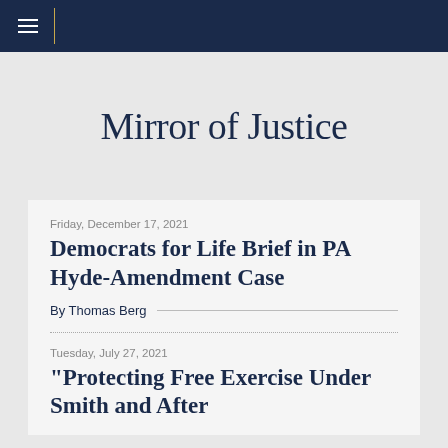Mirror of Justice
Friday, December 17, 2021
Democrats for Life Brief in PA Hyde-Amendment Case
By Thomas Berg
Tuesday, July 27, 2021
"Protecting Free Exercise Under Smith and After